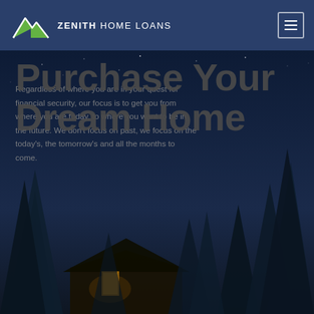ZENITH HOME LOANS
Purchase Your Dream Home
Regardless of where you are in your quest for financial security, our focus is to get you from where you are today, to where you want to be in the future. We don't focus on past, we focus on the today's, the tomorrow's and all the months to come.
[Figure (photo): Night scene with a cabin/house surrounded by dark pine trees against a dark blue starry sky]